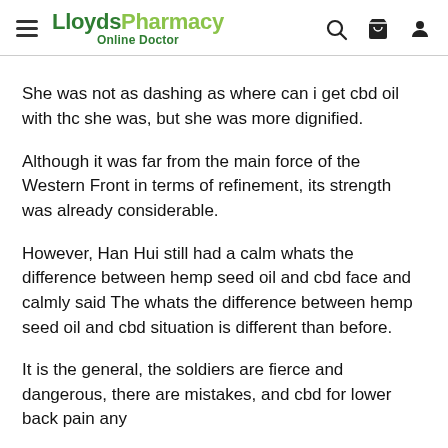LloydsPharmacy Online Doctor
She was not as dashing as where can i get cbd oil with thc she was, but she was more dignified.
Although it was far from the main force of the Western Front in terms of refinement, its strength was already considerable.
However, Han Hui still had a calm whats the difference between hemp seed oil and cbd face and calmly said The whats the difference between hemp seed oil and cbd situation is different than before.
It is the general, the soldiers are fierce and dangerous, there are mistakes, and cbd for lower back pain any